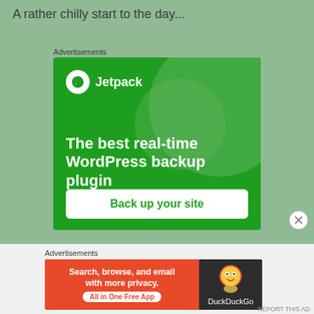A rather chilly start to the day...
Advertisements
[Figure (illustration): Jetpack WordPress plugin advertisement — green background with large decorative circles, Jetpack logo (lightning bolt in white circle) and name top-left, bold white text 'The best real-time WordPress backup plugin', white rounded button 'Back up your site']
[Figure (illustration): DuckDuckGo advertisement — orange left panel with text 'Search, browse, and email with more privacy. All in One Free App' and white pill button, dark right panel with DuckDuckGo duck logo and name]
Advertisements
REPORT THIS AD